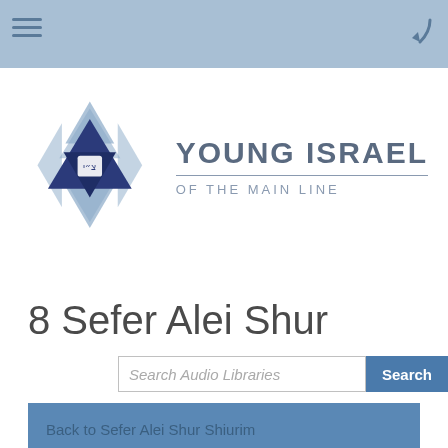Navigation bar with hamburger menu
[Figure (logo): Young Israel of the Main Line logo with Star of David and triangle, alongside organization name text]
8 Sefer Alei Shur
Search Audio Libraries [Search button]
Back to Sefer Alei Shur Shiurim
Title: 8 Sefer Alei Shur
Speaker: Rabbi Steinberg